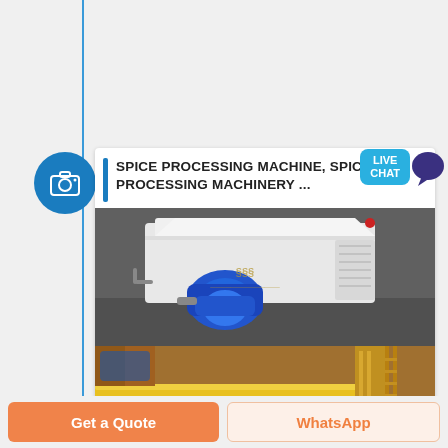[Figure (photo): Spice processing machine / spices processing machinery product listing card with two photos: top photo shows a white industrial machine with a blue electric motor, bottom photo shows yellow industrial conveyor/vibratory equipment. Blue camera icon circle on left, LIVE CHAT bubble top right.]
SPICE PROCESSING MACHINE, SPICES PROCESSING MACHINERY ...
Get a Quote
WhatsApp